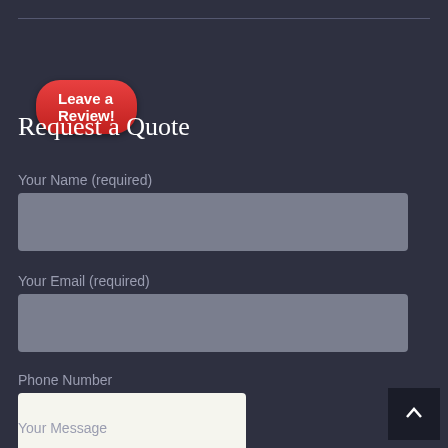[Figure (other): Red rounded button labeled Leave a Review!]
Request a Quote
Your Name (required)
[Figure (other): Empty gray input field for Your Name]
Your Email (required)
[Figure (other): Empty gray input field for Your Email]
Phone Number
[Figure (other): Empty white input field for Phone Number]
Your Message